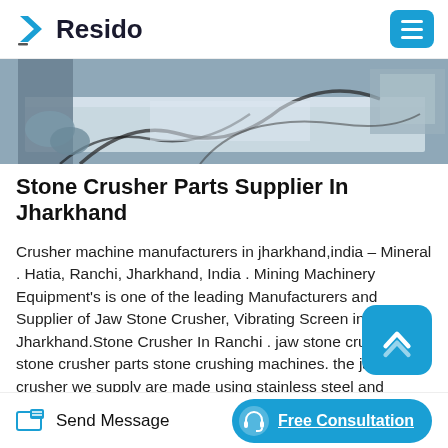Resido
[Figure (photo): Workers using industrial equipment on a construction or stone crushing site, with cables and machinery visible]
Stone Crusher Parts Supplier In Jharkhand
Crusher machine manufacturers in jharkhand,india – Mineral . Hatia, Ranchi, Jharkhand, India . Mining Machinery Equipment's is one of the leading Manufacturers and Supplier of Jaw Stone Crusher, Vibrating Screen in Jharkhand.Stone Crusher In Ranchi . jaw stone crusher stone crusher parts stone crushing machines. the jaw stone crusher we supply are made using stainless steel and supreme quality raw material and are suitable for heavy crushing requireme…
Send Message   Free Consultation